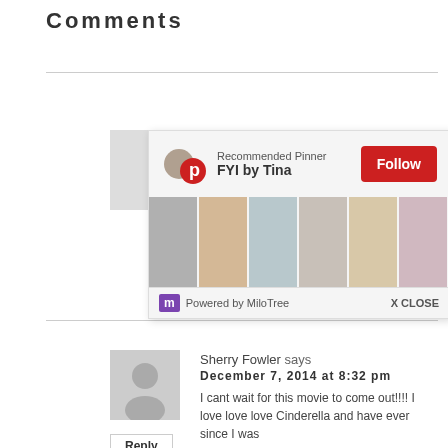Comments
[Figure (screenshot): MiloTree Pinterest popup overlay showing 'Recommended Pinner FYI by Tina' with a Follow button, a grid of Pinterest images, and 'Powered by MiloTree' footer with X CLOSE button]
ada
see this!!
Reply
Sherry Fowler says
December 7, 2014 at 8:32 pm
I cant wait for this movie to come out!!!! I love love love Cinderella and have ever since I was